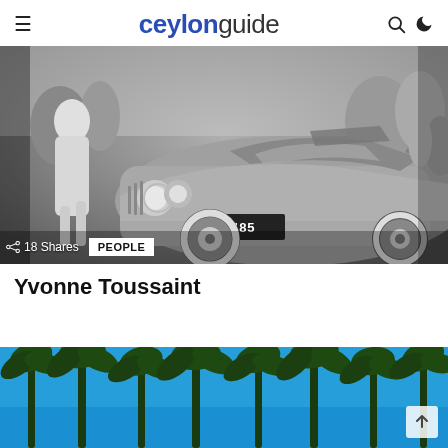ceylonguide
[Figure (photo): Black and white vintage photograph of a classic car with license plate CE 9485, surrounded by people at what appears to be a public event.]
18 Shares
PEOPLE
Yvonne Toussaint
[Figure (photo): Color photograph of tall palm trees against a bright blue sky.]